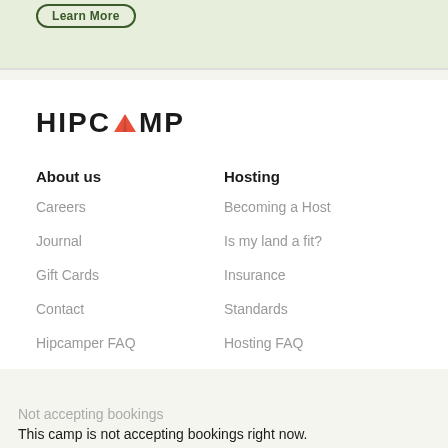[Figure (screenshot): Top banner with green background and 'Learn More' button with dark green border]
[Figure (logo): Hipcamp logo with tent icon in red/orange replacing the letter A]
About us
Hosting
Careers
Becoming a Host
Journal
Is my land a fit?
Gift Cards
Insurance
Contact
Standards
Hipcamper FAQ
Hosting FAQ
Not accepting bookings
This camp is not accepting bookings right now.